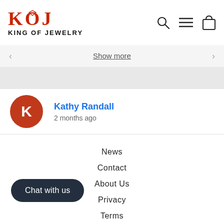[Figure (logo): King of Jewelry logo with red KOJ letters and diamond icon above the O, with text KING OF JEWELRY below]
Show more
Kathy Randall
2 months ago
News
Contact
About Us
Privacy
Terms
CCPA Compliance
Chat with us